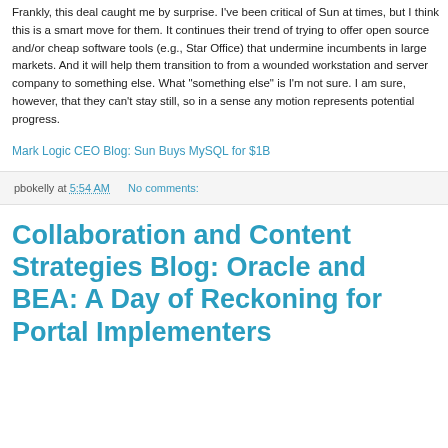Frankly, this deal caught me by surprise. I've been critical of Sun at times, but I think this is a smart move for them. It continues their trend of trying to offer open source and/or cheap software tools (e.g., Star Office) that undermine incumbents in large markets. And it will help them transition to from a wounded workstation and server company to something else. What "something else" is I'm not sure. I am sure, however, that they can't stay still, so in a sense any motion represents potential progress.
Mark Logic CEO Blog: Sun Buys MySQL for $1B
pbokelly at 5:54 AM    No comments:
Collaboration and Content Strategies Blog: Oracle and BEA: A Day of Reckoning for Portal Implementers